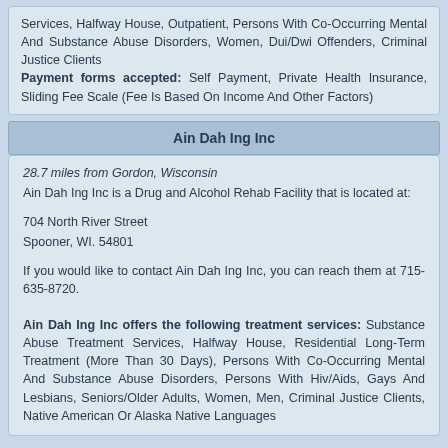Services, Halfway House, Outpatient, Persons With Co-Occurring Mental And Substance Abuse Disorders, Women, Dui/Dwi Offenders, Criminal Justice Clients
Payment forms accepted: Self Payment, Private Health Insurance, Sliding Fee Scale (Fee Is Based On Income And Other Factors)
Ain Dah Ing Inc
28.7 miles from Gordon, Wisconsin
Ain Dah Ing Inc is a Drug and Alcohol Rehab Facility that is located at:

704 North River Street
Spooner, WI. 54801

If you would like to contact Ain Dah Ing Inc, you can reach them at 715-635-8720.

Ain Dah Ing Inc offers the following treatment services: Substance Abuse Treatment Services, Halfway House, Residential Long-Term Treatment (More Than 30 Days), Persons With Co-Occurring Mental And Substance Abuse Disorders, Persons With Hiv/Aids, Gays And Lesbians, Seniors/Older Adults, Women, Men, Criminal Justice Clients, Native American Or Alaska Native Languages